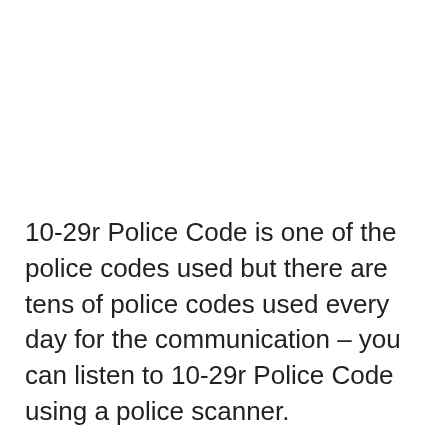10-29r Police Code is one of the police codes used but there are tens of police codes used every day for the communication – you can listen to 10-29r Police Code using a police scanner.